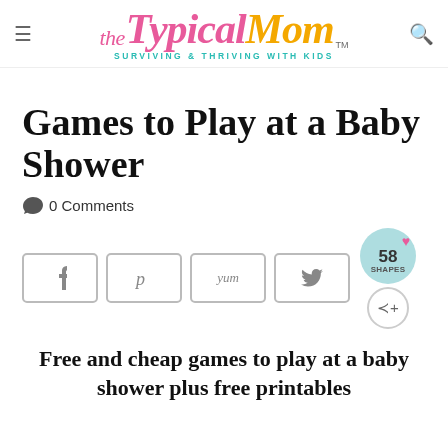The TypicalMom™ — SURVIVING & THRIVING WITH KIDS
Games to Play at a Baby Shower
💬 0 Comments
[Figure (other): Social share buttons: Facebook, Pinterest, Yummly, Twitter, plus a share count circle showing 58 SHAPES and a share button]
Free and cheap games to play at a baby shower plus free printables